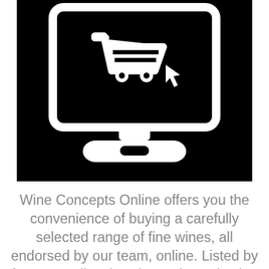[Figure (illustration): Black background icon showing a computer monitor/tablet displaying a shopping cart with a cursor arrow, and a tablet/stand base below it. White icons on black background.]
Wine Concepts Online offers you the convenience of buying a carefully selected range of fine wines, all endorsed by our team, online. Listed by farm as well as by wine style each wine has a description to help you make a choice. If you have a preference for a wine not listed then drop us an email and we will do our best to source it for you. Wine will be delivered as soon as we are